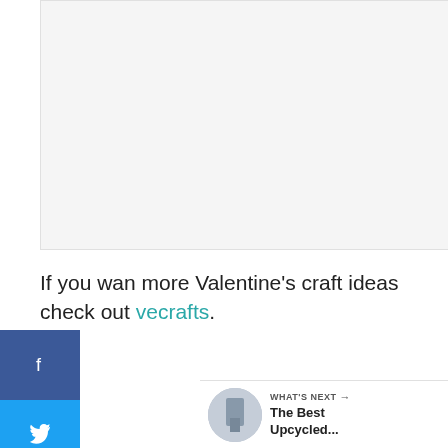[Figure (photo): Blank/white image placeholder area at top of page]
If you wan more Valentine’s craft ideas check out …vecrafts.
[Figure (infographic): Social media sidebar with Facebook (f), Twitter (bird), and Pinterest (p) buttons]
[Figure (infographic): Floating action buttons: teal heart with 120 likes, and share button]
[Figure (infographic): WHAT'S NEXT panel with thumbnail and text: The Best Upcycled...]